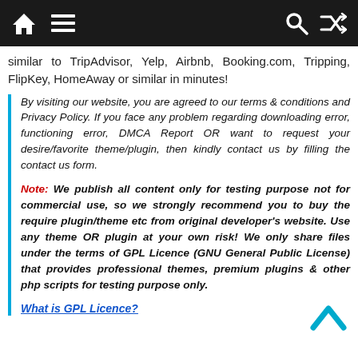Navigation bar with home, menu, search, and shuffle icons
similar to TripAdvisor, Yelp, Airbnb, Booking.com, Tripping, FlipKey, HomeAway or similar in minutes!
By visiting our website, you are agreed to our terms & conditions and Privacy Policy. If you face any problem regarding downloading error, functioning error, DMCA Report OR want to request your desire/favorite theme/plugin, then kindly contact us by filling the contact us form.
Note: We publish all content only for testing purpose not for commercial use, so we strongly recommend you to buy the require plugin/theme etc from original developer's website. Use any theme OR plugin at your own risk! We only share files under the terms of GPL Licence (GNU General Public License) that provides professional themes, premium plugins & other php scripts for testing purpose only.
What is GPL Licence?